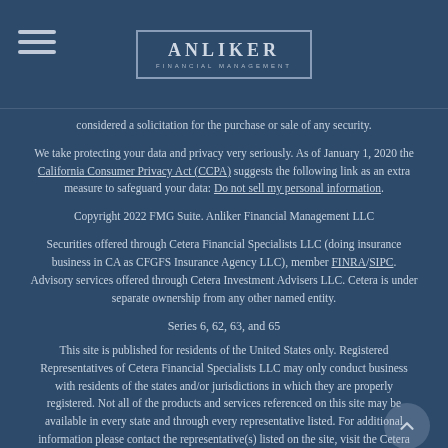ANLIKER FINANCIAL MANAGEMENT
considered a solicitation for the purchase or sale of any security.
We take protecting your data and privacy very seriously. As of January 1, 2020 the California Consumer Privacy Act (CCPA) suggests the following link as an extra measure to safeguard your data: Do not sell my personal information.
Copyright 2022 FMG Suite. Anliker Financial Management LLC
Securities offered through Cetera Financial Specialists LLC (doing insurance business in CA as CFGFS Insurance Agency LLC), member FINRA/SIPC. Advisory services offered through Cetera Investment Advisers LLC. Cetera is under separate ownership from any other named entity.
Series 6, 62, 63, and 65
This site is published for residents of the United States only. Registered Representatives of Cetera Financial Specialists LLC may only conduct business with residents of the states and/or jurisdictions in which they are properly registered. Not all of the products and services referenced on this site may be available in every state and through every representative listed. For additional information please contact the representative(s) listed on the site, visit the Cetera Financial Specialists LLC site at ceterafinancialspecialists.com